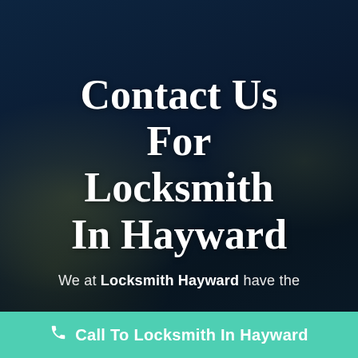[Figure (photo): Dark background photo of a person looking down, likely at a phone or device, with blurred bokeh lights (yellow-green circles) on the left side and right side against a dark blue-teal night scene.]
Contact Us For Locksmith In Hayward
We at Locksmith Hayward have the
Call To Locksmith In Hayward